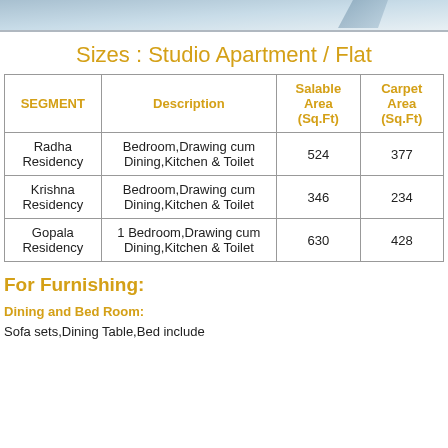[Figure (photo): Top partial image banner showing a building or property with gradient fade]
Sizes : Studio Apartment / Flat
| SEGMENT | Description | Salable Area (Sq.Ft) | Carpet Area (Sq.Ft) |
| --- | --- | --- | --- |
| Radha Residency | Bedroom,Drawing cum Dining,Kitchen & Toilet | 524 | 377 |
| Krishna Residency | Bedroom,Drawing cum Dining,Kitchen & Toilet | 346 | 234 |
| Gopala Residency | 1 Bedroom,Drawing cum Dining,Kitchen & Toilet | 630 | 428 |
For Furnishing:
Dining and Bed Room:
Sofa sets,Dining Table,Bed include